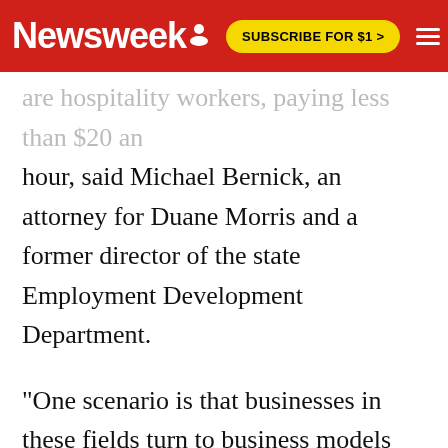Newsweek | SUBSCRIBE FOR $1 >
are hospitality workers, paying less than $20 an hour, said Michael Bernick, an attorney for Duane Morris and a former director of the state Employment Development Department.
"One scenario is that businesses in these fields turn to business models that require fewer workers. We've seen that before in California," Bernick said.
The hotel and restaurant sector has had the largest job gains in California this year, but data from August shows the pace of hiring has